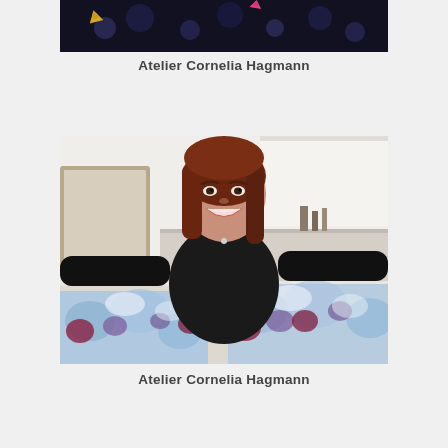[Figure (photo): Partial photo at top showing dark background with colorful decorative leaves/flowers (yellow, pink, red) and dark orbs/bubbles on black background - appears to be an abstract painting]
Atelier Cornelia Hagmann
[Figure (photo): Woman with long auburn/red hair wearing a black turtleneck sweater, smiling broadly, standing in an art studio with arms spread wide. In front of her are two large abstract paintings with blue, white, purple and red floral motifs. A mirror and studio space are visible in the background.]
Atelier Cornelia Hagmann